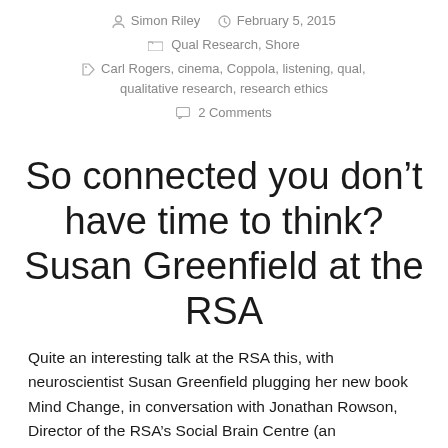Simon Riley   February 5, 2015   Qual Research, Shore   Carl Rogers, cinema, Coppola, listening, qual, qualitative research, research ethics   2 Comments
So connected you don't have time to think? Susan Greenfield at the RSA
Quite an interesting talk at the RSA this, with neuroscientist Susan Greenfield plugging her new book Mind Change, in conversation with Jonathan Rowson, Director of the RSA's Social Brain Centre (an